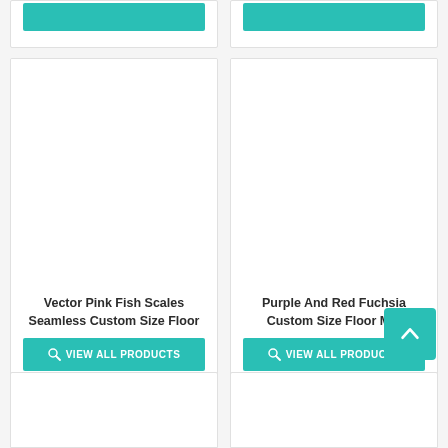[Figure (screenshot): Top partial product cards with teal VIEW ALL PRODUCTS buttons]
[Figure (screenshot): Product card: Vector Pink Fish Scales Seamless Custom Size Floor with teal VIEW ALL PRODUCTS button]
Vector Pink Fish Scales Seamless Custom Size Floor
VIEW ALL PRODUCTS
[Figure (screenshot): Product card: Purple And Red Fuchsia Custom Size Floor Mat with teal VIEW ALL PRODUCTS button]
Purple And Red Fuchsia Custom Size Floor Mat
VIEW ALL PRODUCTS
[Figure (screenshot): Back to top teal button with upward chevron]
[Figure (screenshot): Bottom partial product cards]